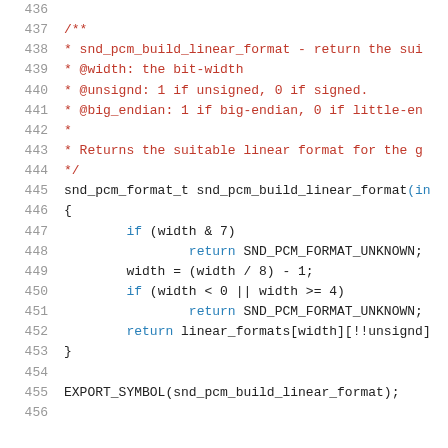Source code lines 436-456 showing snd_pcm_build_linear_format function documentation and implementation in C